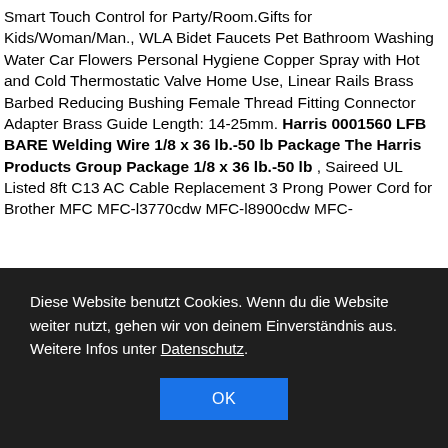Smart Touch Control for Party/Room.Gifts for Kids/Woman/Man., WLA Bidet Faucets Pet Bathroom Washing Water Car Flowers Personal Hygiene Copper Spray with Hot and Cold Thermostatic Valve Home Use, Linear Rails Brass Barbed Reducing Bushing Female Thread Fitting Connector Adapter Brass Guide Length: 14-25mm. Harris 0001560 LFB BARE Welding Wire 1/8 x 36 lb.-50 lb Package The Harris Products Group Package 1/8 x 36 lb.-50 lb , Saireed UL Listed 8ft C13 AC Cable Replacement 3 Prong Power Cord for Brother MFC MFC-l3770cdw MFC-l8900cdw MFC-
Diese Website benutzt Cookies. Wenn du die Website weiter nutzt, gehen wir von deinem Einverständnis aus. Weitere Infos unter Datenschutz.
OK